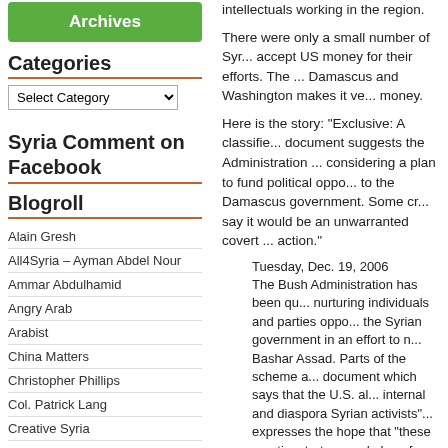[Figure (other): Green Archives button]
Categories
[Figure (other): Select Category dropdown]
Syria Comment on Facebook
Blogroll
Alain Gresh
All4Syria – Ayman Abdel Nour
Ammar Abdulhamid
Angry Arab
Arabist
China Matters
Christopher Phillips
Col. Patrick Lang
Creative Syria
Dreyfuss Report
Enduring America – Lucas et. al.
Focus on Syria (humanitarian)
intellectuals working in the region.
There were only a small number of Syr... accept US money for their efforts. The ... Damascus and Washington makes it ve... money.
Here is the story: "Exclusive: A classifie... document suggests the Administration ... considering a plan to fund political oppo... to the Damascus government. Some cr... say it would be an unwarranted covert ... action."
Tuesday, Dec. 19, 2006
The Bush Administration has been qu... nurturing individuals and parties oppo... the Syrian government in an effort to n... Bashar Assad. Parts of the scheme a... document which says that the U.S. al... internal and diaspora Syrian activists"... expresses the hope that "these meeti... strategy and plan of actions for all ant...
The document says that Syria's legisla... 2007, "provide a potentially galvanizin... regime." To capitalize on that opportu... "into the resulting dialogue...